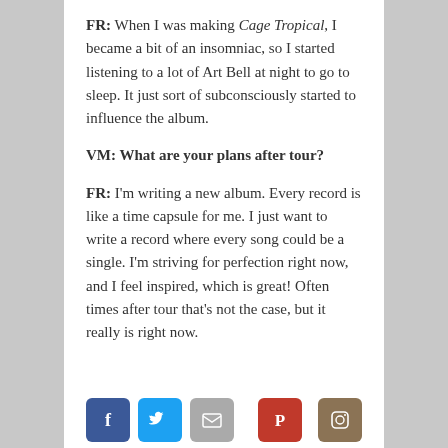FR:  When I was making Cage Tropical, I became a bit of an insomniac, so I started listening to a lot of Art Bell at night to go to sleep. It just sort of subconsciously started to influence the album.
VM:  What are your plans after tour?
FR:  I'm writing a new album. Every record is like a time capsule for me. I just want to write a record where every song could be a single. I'm striving for perfection right now, and I feel inspired, which is great! Often times after tour that's not the case, but it really is right now.
[Social sharing icons: Facebook, Twitter, Email, Pinterest, Instagram]